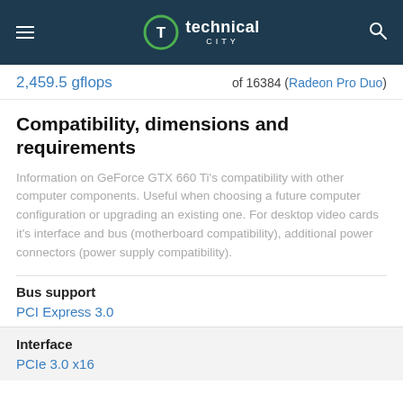technical city
2,459.5 gflops  of 16384 (Radeon Pro Duo)
Compatibility, dimensions and requirements
Information on GeForce GTX 660 Ti's compatibility with other computer components. Useful when choosing a future computer configuration or upgrading an existing one. For desktop video cards it's interface and bus (motherboard compatibility), additional power connectors (power supply compatibility).
Bus support
PCI Express 3.0
Interface
PCIe 3.0 x16